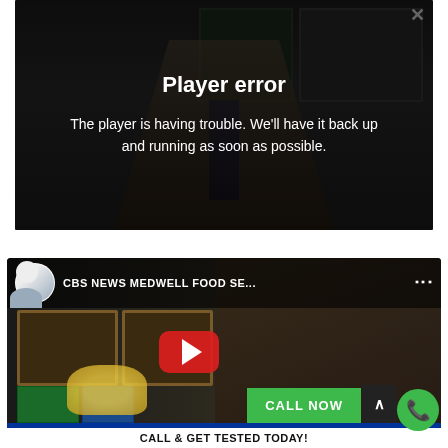[Figure (screenshot): Video player error overlay showing a doctor in background with 'Player error' message and close button]
Player error
The player is having trouble. We'll have it back up and running as soon as possible.
[Figure (screenshot): YouTube embedded video player showing CBS NEWS MEDWELL FOOD SE... with a doctor in a medical office, YouTube play button, call now button, and ticker at bottom]
CBS NEWS MEDWELL FOOD SE...
CALL NOW
1ODAY: $118  NY WIN 4 EVENING: $195  CASH4LIFE: 4-15-44-51-52 CASH BALL: 2  NJ CAS...
CALL & GET TESTED TODAY!